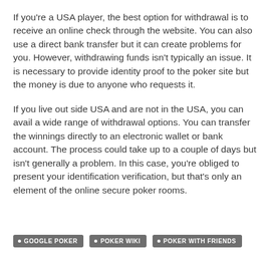If you're a USA player, the best option for withdrawal is to receive an online check through the website. You can also use a direct bank transfer but it can create problems for you. However, withdrawing funds isn't typically an issue. It is necessary to provide identity proof to the poker site but the money is due to anyone who requests it.
If you live out side USA and are not in the USA, you can avail a wide range of withdrawal options. You can transfer the winnings directly to an electronic wallet or bank account. The process could take up to a couple of days but isn't generally a problem. In this case, you're obliged to present your identification verification, but that's only an element of the online secure poker rooms.
GOOGLE POKER
POKER WIKI
POKER WITH FRIENDS